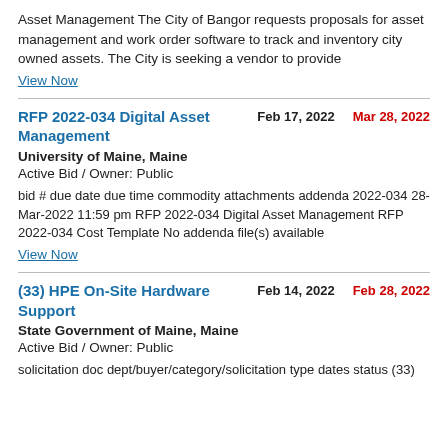Asset Management The City of Bangor requests proposals for asset management and work order software to track and inventory city owned assets. The City is seeking a vendor to provide
View Now
RFP 2022-034 Digital Asset Management
Feb 17, 2022
Mar 28, 2022
University of Maine, Maine
Active Bid / Owner: Public
bid # due date due time commodity attachments addenda 2022-034 28-Mar-2022 11:59 pm RFP 2022-034 Digital Asset Management RFP 2022-034 Cost Template No addenda file(s) available
View Now
(33) HPE On-Site Hardware Support
Feb 14, 2022
Feb 28, 2022
State Government of Maine, Maine
Active Bid / Owner: Public
solicitation doc dept/buyer/category/solicitation type dates status (33)